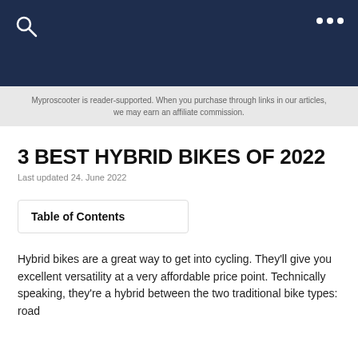Myproscooter is reader-supported. When you purchase through links in our articles, we may earn an affiliate commission.
3 BEST HYBRID BIKES OF 2022
Last updated 24. June 2022
Table of Contents
Hybrid bikes are a great way to get into cycling. They'll give you excellent versatility at a very affordable price point. Technically speaking, they're a hybrid between the two traditional bike types: road